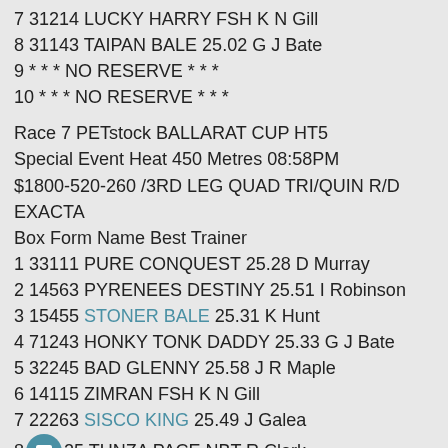7 31214 LUCKY HARRY FSH K N Gill
8 31143 TAIPAN BALE 25.02 G J Bate
9 * * * NO RESERVE * * *
10 * * * NO RESERVE * * *
Race 7 PETstock BALLARAT CUP HT5
Special Event Heat 450 Metres 08:58PM
$1800-520-260 /3RD LEG QUAD TRI/QUIN R/D EXACTA
Box Form Name Best Trainer
1 33111 PURE CONQUEST 25.28 D Murray
2 14563 PYRENEES DESTINY 25.51 I Robinson
3 15455 STONER BALE 25.31 K Hunt
4 71243 HONKY TONK DADDY 25.33 G J Bate
5 32245 BAD GLENNY 25.58 J R Maple
6 14115 ZIMRAN FSH K N Gill
7 22263 SISCO KING 25.49 J Galea
8 25 TUNZA PACE NBT R Clark
9 * * * NO RESERVE * * *